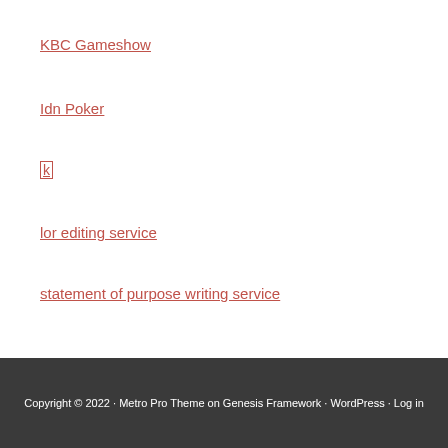KBC Gameshow
Idn Poker
k
lor editing service
statement of purpose writing service
Copyright © 2022 · Metro Pro Theme on Genesis Framework · WordPress · Log in